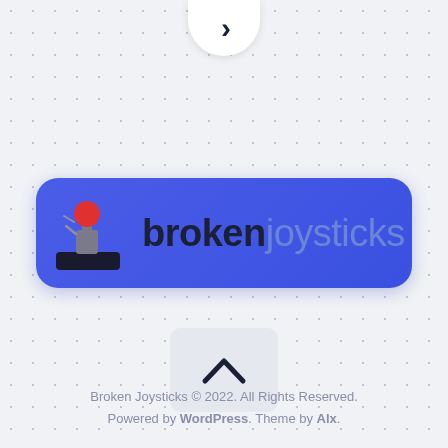[Figure (logo): Broken Joysticks website logo on a blue rounded rectangle background with a broken joystick icon on the left and the text 'brokenjoysticks' in dark and light blue.]
Broken Joysticks © 2022. All Rights Reserved.
Powered by WordPress. Theme by Alx.